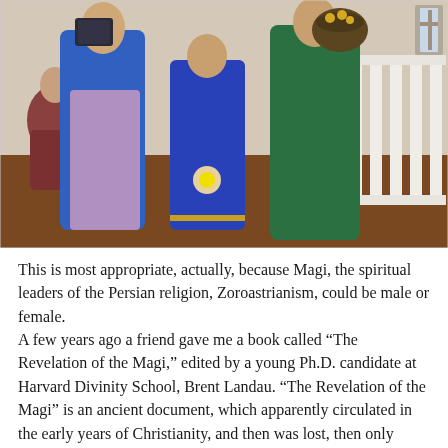[Figure (photo): Three people in colorful costumes (blue, purple/mauve, and green robes) standing in what appears to be a church interior with white balustrades in the background. The figures appear to be dressed as the Magi, holding gifts. One child is in the middle in a blue outfit. A person sits in the background on the left.]
This is most appropriate, actually, because Magi, the spiritual leaders of the Persian religion, Zoroastrianism, could be male or female.
A few years ago a friend gave me a book called “The Revelation of the Magi,” edited by a young Ph.D. candidate at Harvard Divinity School, Brent Landau. “The Revelation of the Magi” is an ancient document, which apparently circulated in the early years of Christianity, and then was lost, then only recently found and translated by Landau, working with Professors at